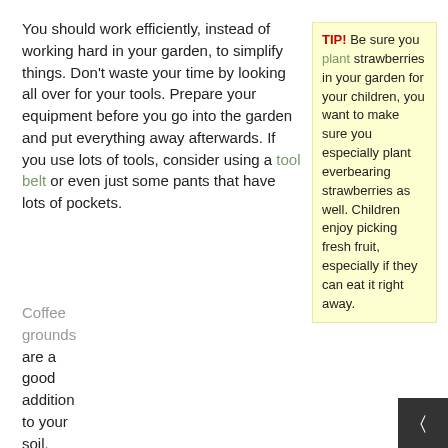You should work efficiently, instead of working hard in your garden, to simplify things. Don't waste your time by looking all over for your tools. Prepare your equipment before you go into the garden and put everything away afterwards. If you use lots of tools, consider using a tool belt or even just some pants that have lots of pockets.
TIP! Be sure you plant strawberries in your garden for your children, you want to make sure you especially plant everbearing strawberries as well. Children enjoy picking fresh fruit, especially if they can eat it right away.
Coffee grounds are a good addition to your soil. Coffee grounds are full of